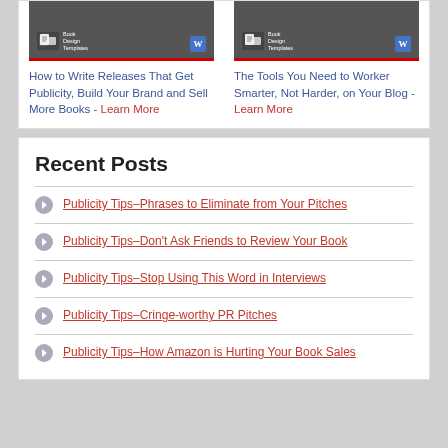[Figure (screenshot): Thumbnail image for 'How to Write Releases That Get Publicity, Build Your Brand and Sell More Books' with Book Design Templates branding and Word icon]
How to Write Releases That Get Publicity, Build Your Brand and Sell More Books - Learn More
[Figure (screenshot): Thumbnail image for 'The Tools You Need to Worker Smarter, Not Harder, on Your Blog' with Book Design Templates branding and Word icon]
The Tools You Need to Worker Smarter, Not Harder, on Your Blog - Learn More
Recent Posts
Publicity Tips–Phrases to Eliminate from Your Pitches
Publicity Tips–Don't Ask Friends to Review Your Book
Publicity Tips–Stop Using This Word in Interviews
Publicity Tips–Cringe-worthy PR Pitches
Publicity Tips–How Amazon is Hurting Your Book Sales